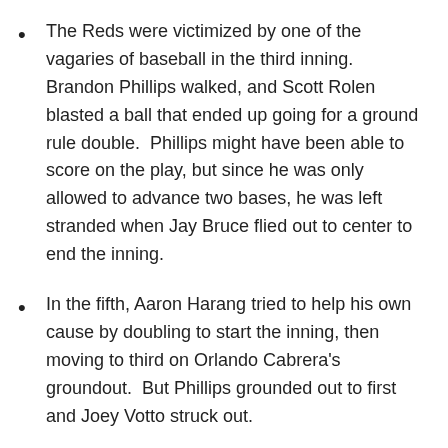The Reds were victimized by one of the vagaries of baseball in the third inning.  Brandon Phillips walked, and Scott Rolen blasted a ball that ended up going for a ground rule double.  Phillips might have been able to score on the play, but since he was only allowed to advance two bases, he was left stranded when Jay Bruce flied out to center to end the inning.
In the fifth, Aaron Harang tried to help his own cause by doubling to start the inning, then moving to third on Orlando Cabrera's groundout.  But Phillips grounded out to first and Joey Votto struck out.
The Braves showed the Reds how to drive in a runner on third in the bottom of the inning.  Jason